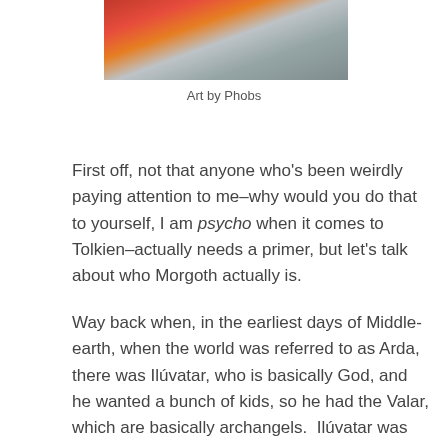[Figure (illustration): Colorful illustrated artwork showing figures with red and orange tones against a grey background, partially cropped at top of page]
Art by Phobs
First off, not that anyone who's been weirdly paying attention to me–why would you do that to yourself, I am psycho when it comes to Tolkien–actually needs a primer, but let's talk about who Morgoth actually is.
Way back when, in the earliest days of Middle-earth, when the world was referred to as Arda, there was Ilúvatar, who is basically God, and he wanted a bunch of kids, so he had the Valar, which are basically archangels.  Ilúvatar was kind of a dick, though, so when he sang the song of creation, he